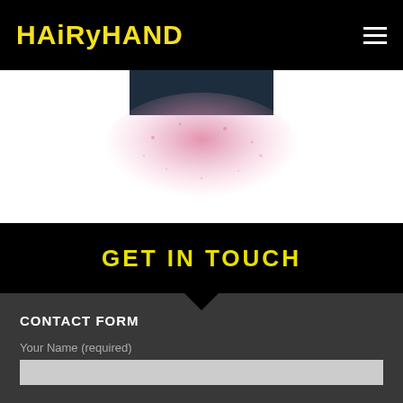HAiRyHAND
[Figure (illustration): Partial image showing a dark rectangle at top center with a pink spray/splatter effect below it on white background]
GET IN TOUCH
CONTACT FORM
Your Name (required)